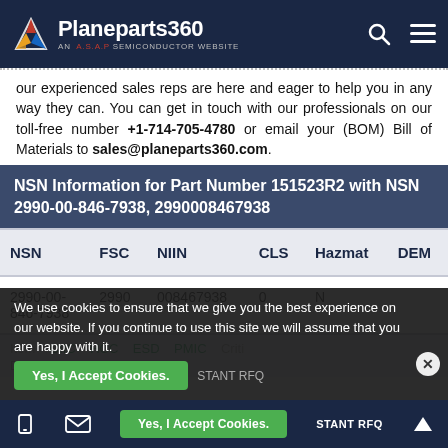Planeparts360 - AN A.S.A.P SEMICONDUCTOR WEBSITE
our experienced sales reps are here and eager to help you in any way they can. You can get in touch with our professionals on our toll-free number +1-714-705-4780 or email your (BOM) Bill of Materials to sales@planeparts360.com.
| NSN | FSC | NIIN | CLS | Hazmat | DEM |
| --- | --- | --- | --- | --- | --- |
| 2990-00-846-7938 | 2990 | 008467938 | 0 | N |  |
We use cookies to ensure that we give you the best experience on our website. If you continue to use this site we will assume that you are happy with it.